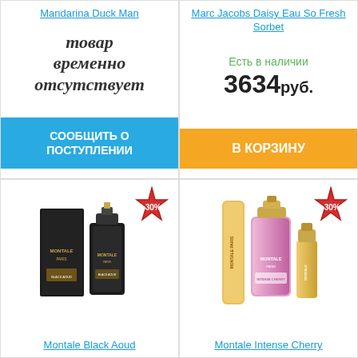Mandarina Duck Man
товар временно отсутствует
СООБЩИТЬ О ПОСТУПЛЕНИИ
Marc Jacobs Daisy Eau So Fresh Sorbet
Есть в наличии
3634руб.
В КОРЗИНУ
[Figure (photo): Montale Black Aoud perfume bottle and box, black, with -30% discount badge]
Montale Black Aoud
[Figure (photo): Montale Intense Cherry perfume bottles, gold/pink, with -30% discount badge]
Montale Intense Cherry